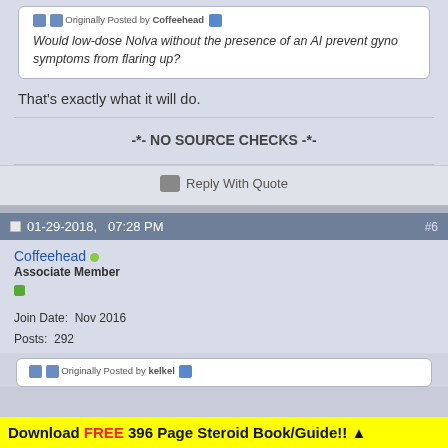Originally Posted by Coffeehead
Would low-dose Nolva without the presence of an AI prevent gyno symptoms from flaring up?
That's exactly what it will do.
-*- NO SOURCE CHECKS -*-
Reply With Quote
01-29-2018, 07:28 PM
#6
Coffeehead
Associate Member
Join Date: Nov 2016
Posts: 292
Originally Posted by kelkel